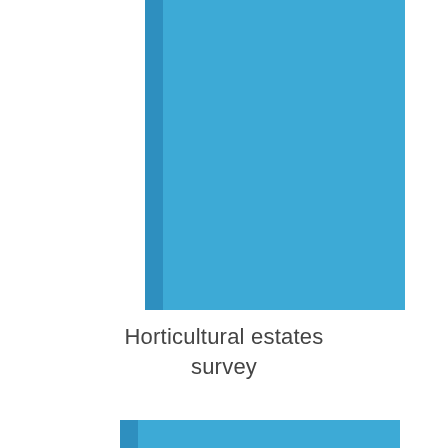[Figure (illustration): Blue book cover with darker blue spine, upper portion visible]
Horticultural estates survey
[Figure (illustration): Blue book cover with darker blue spine, lower portion partially visible at bottom of page]